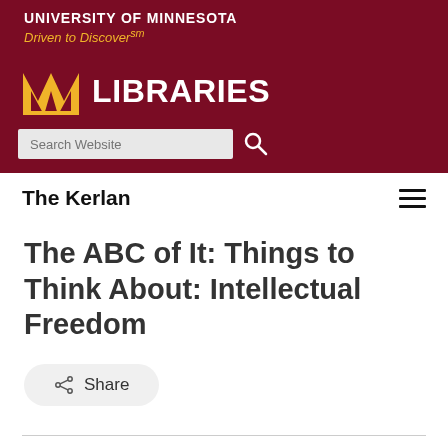University of Minnesota
Driven to Discover℠
[Figure (logo): University of Minnesota M logo in gold, next to LIBRARIES text in white on maroon background]
The Kerlan
The ABC of It: Things to Think About: Intellectual Freedom
Share